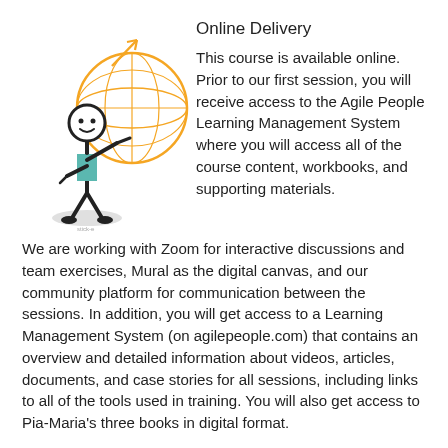[Figure (illustration): Stick figure person pointing at a globe/world icon drawn with orange grid lines]
Online Delivery
This course is available online. Prior to our first session, you will receive access to the Agile People Learning Management System where you will access all of the course content, workbooks, and supporting materials.
We are working with Zoom for interactive discussions and team exercises, Mural as the digital canvas, and our community platform for communication between the sessions. In addition, you will get access to a Learning Management System (on agilepeople.com) that contains an overview and detailed information about videos, articles, documents, and case stories for all sessions, including links to all of the tools used in training. You will also get access to Pia-Maria's three books in digital format.